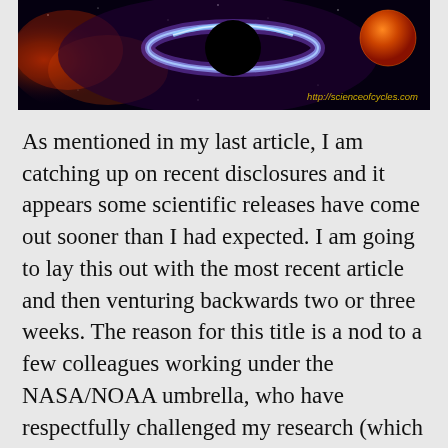[Figure (photo): Space image showing a black hole with accretion disk, cosmic nebula and planet/star, with watermark URL http://scienceofcycles.com in yellow text at bottom right]
As mentioned in my last article, I am catching up on recent disclosures and it appears some scientific releases have come out sooner than I had expected. I am going to lay this out with the most recent article and then venturing backwards two or three weeks. The reason for this title is a nod to a few colleagues working under the NASA/NOAA umbrella, who have respectfully challenged my research (which is appropriate and necessary), even though uncomfortably harsh at times,  and now have to ease-up a bit since they just happen to be the source on a few items.